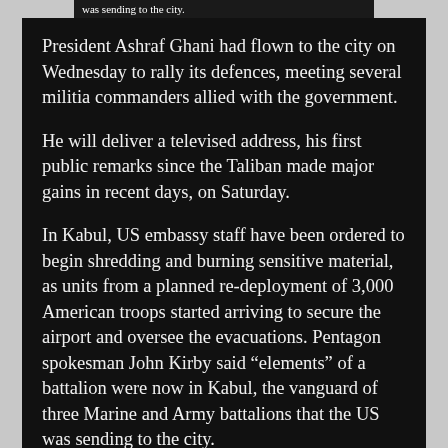was sending to the city.
President Ashraf Ghani had flown to the city on Wednesday to rally its defences, meeting several militia commanders allied with the government.
He will deliver a televised address, his first public remarks since the Taliban made major gains in recent days, on Saturday.
In Kabul, US embassy staff have been ordered to begin shredding and burning sensitive material, as units from a planned re-deployment of 3,000 American troops started arriving to secure the airport and oversee the evacuations. Pentagon spokesman John Kirby said “elements” of a battalion were now in Kabul, the vanguard of three Marine and Army battalions that the US was sending to the city.
Kirby said that most of the troops would be in